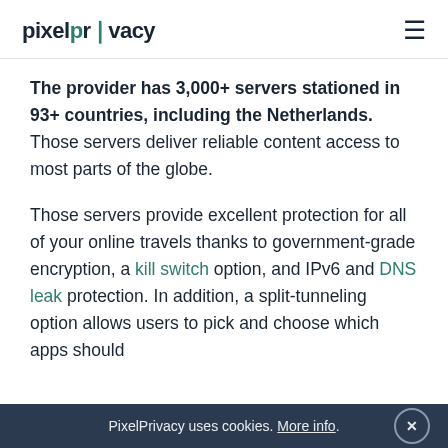pixelprivacy
The provider has 3,000+ servers stationed in 93+ countries, including the Netherlands. Those servers deliver reliable content access to most parts of the globe.
Those servers provide excellent protection for all of your online travels thanks to government-grade encryption, a kill switch option, and IPv6 and DNS leak protection. In addition, a split-tunneling option allows users to pick and choose which apps should
PixelPrivacy uses cookies. More info. ×